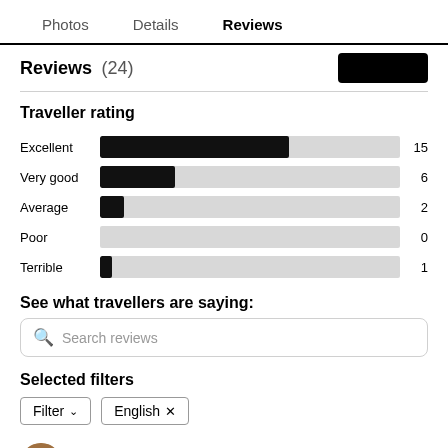Photos  Details  Reviews
Reviews (24)
Traveller rating
[Figure (bar-chart): Traveller rating]
See what travellers are saying:
Search reviews
Selected filters
Filter
English ×